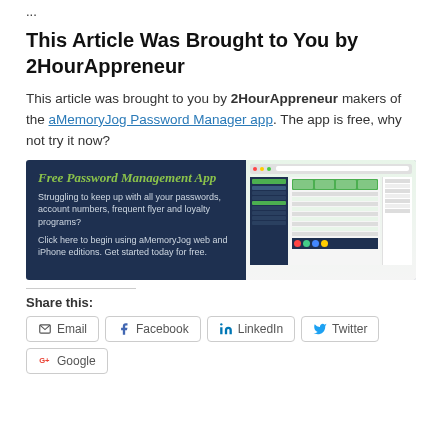...
This Article Was Brought to You by 2HourAppreneur
This article was brought to you by 2HourAppreneur makers of the aMemoryJog Password Manager app. The app is free, why not try it now?
[Figure (screenshot): Advertisement banner for Free Password Management App - aMemoryJog. Dark blue background with text on left and app screenshot on right.]
Share this:
Email | Facebook | LinkedIn | Twitter | Google